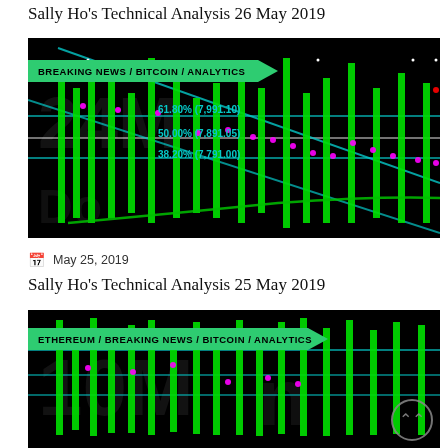Sally Ho's Technical Analysis 26 May 2019
[Figure (screenshot): Bitcoin technical analysis chart with Fibonacci levels at 61.80% (7,991.10), 50.00% (7,891.05), 38.20% (7,791.00), showing green candlestick bars, cyan diagonal lines, magenta dots, and watermark text. Banner: BREAKING NEWS / BITCOIN / ANALYTICS]
May 25, 2019
Sally Ho's Technical Analysis 25 May 2019
[Figure (screenshot): Ethereum/Bitcoin technical analysis chart with green candlestick bars, cyan horizontal lines, magenta dots, large watermark numerals, and scroll-to-top button. Banner: ETHEREUM / BREAKING NEWS / BITCOIN / ANALYTICS]